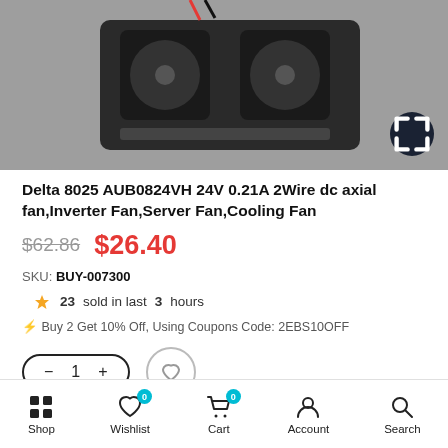[Figure (photo): Photo of a Delta 8025 AUB0824VH dc axial fan/cooling fan, black, shown on gray background with wires visible at top.]
Delta 8025 AUB0824VH 24V 0.21A 2Wire dc axial fan,Inverter Fan,Server Fan,Cooling Fan
$62.86  $26.40
SKU: BUY-007300
23 sold in last 3 hours
⚡ Buy 2 Get 10% Off, Using Coupons Code: 2EBS10OFF
Shop  Wishlist 0  Cart 0  Account  Search